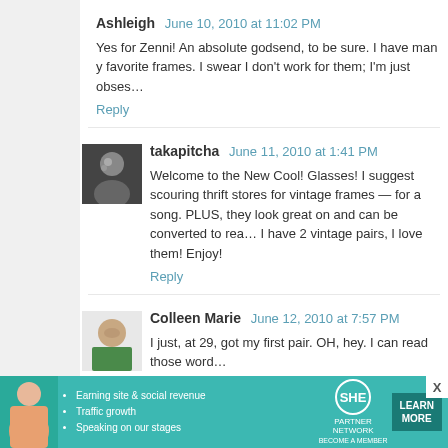Ashleigh  June 10, 2010 at 11:02 PM
Yes for Zenni! An absolute godsend, to be sure. I have many favorite frames. I swear I don't work for them; I'm just obses…
Reply
takapitcha  June 11, 2010 at 1:41 PM
Welcome to the New Cool! Glasses! I suggest scouring thrift stores for vintage frames — for a song. PLUS, they look great on and can be converted to rea… I have 2 vintage pairs, I love them! Enjoy!
Reply
Colleen Marie  June 12, 2010 at 7:57 PM
I just, at 29, got my first pair. OH, hey. I can read those wor…
Reply
Muria  June 13, 2010 at 12:42 AM
[Figure (infographic): SHE Partner Network advertisement banner with photo of woman, bullet points about earning site & social revenue, traffic growth, speaking on our stages, SHE logo, and LEARN MORE button]